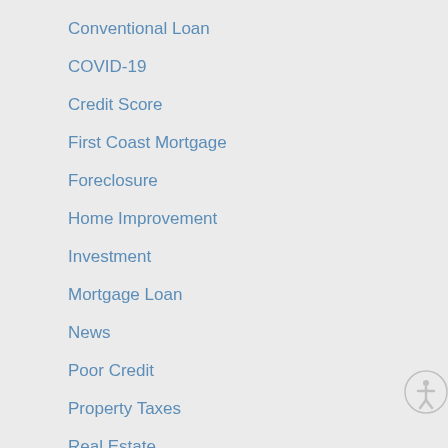Conventional Loan
COVID-19
Credit Score
First Coast Mortgage
Foreclosure
Home Improvement
Investment
Mortgage Loan
News
Poor Credit
Property Taxes
Real Estate
Trends
VA Loan